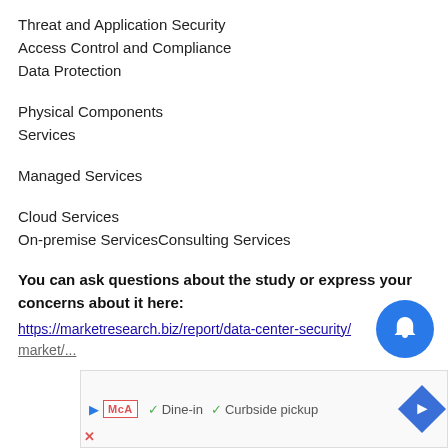Threat and Application Security
Access Control and Compliance
Data Protection
Physical Components
Services
Managed Services
Cloud Services
On-premise ServicesConsulting Services
You can ask questions about the study or express your concerns about it here:
https://marketresearch.biz/report/data-center-security/market/...